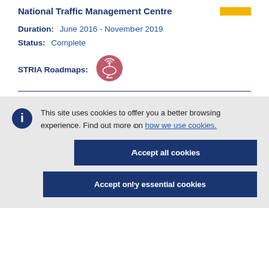National Traffic Management Centre
Duration: June 2016 - November 2019
Status: Complete
STRIA Roadmaps:
[Figure (illustration): STRIA Roadmaps circular icon with pink/red background showing satellite/connectivity symbols]
This site uses cookies to offer you a better browsing experience. Find out more on how we use cookies.
Accept all cookies
Accept only essential cookies